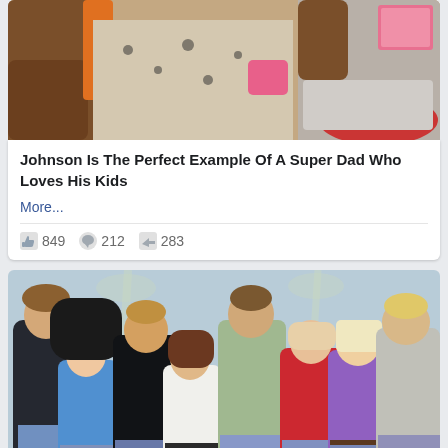[Figure (photo): Top portion of a photo showing a muscular man sitting with a child, with an orange chair, floral outfit, and a pink box visible]
Johnson Is The Perfect Example Of A Super Dad Who Loves His Kids
More...
849  212  283
[Figure (photo): Group photo of eight young people (cast of Beverly Hills 90210) posing together against a light blue background with palm trees, wearing jeans and colorful tops]